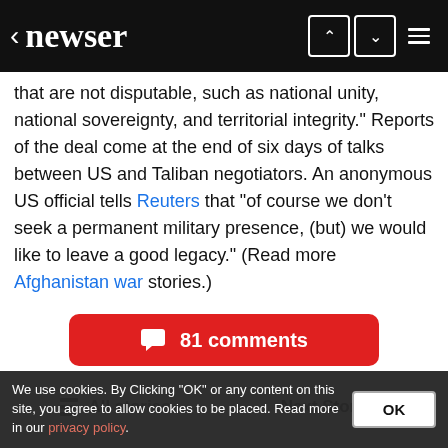< newser
that are not disputable, such as national unity, national sovereignty, and territorial integrity." Reports of the deal come at the end of six days of talks between US and Taliban negotiators. An anonymous US official tells Reuters that "of course we don't seek a permanent military presence, (but) we would like to leave a good legacy." (Read more Afghanistan war stories.)
81 comments
All stories
Next Story →
Around the Web
We use cookies. By Clicking "OK" or any content on this site, you agree to allow cookies to be placed. Read more in our privacy policy.